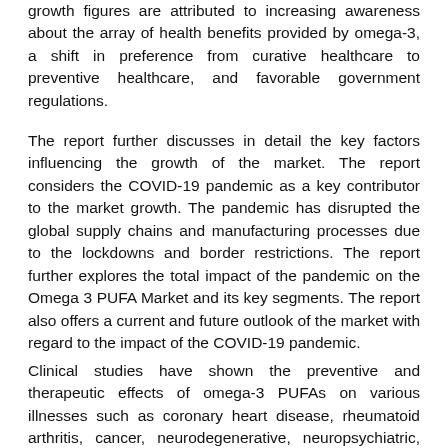growth figures are attributed to increasing awareness about the array of health benefits provided by omega-3, a shift in preference from curative healthcare to preventive healthcare, and favorable government regulations.
The report further discusses in detail the key factors influencing the growth of the market. The report considers the COVID-19 pandemic as a key contributor to the market growth. The pandemic has disrupted the global supply chains and manufacturing processes due to the lockdowns and border restrictions. The report further explores the total impact of the pandemic on the Omega 3 PUFA Market and its key segments. The report also offers a current and future outlook of the market with regard to the impact of the COVID-19 pandemic.
Clinical studies have shown the preventive and therapeutic effects of omega-3 PUFAs on various illnesses such as coronary heart disease, rheumatoid arthritis, cancer, neurodegenerative, neuropsychiatric, and inflammatory diseases. There is an increasing demand for omega-3 in